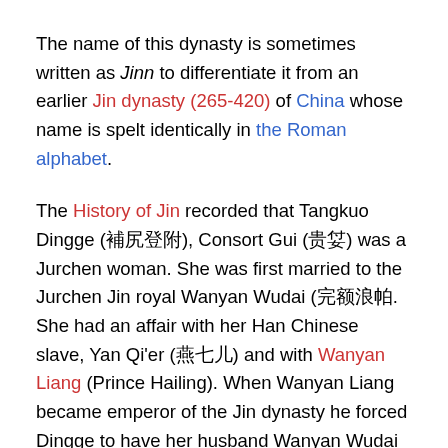The name of this dynasty is sometimes written as Jinn to differentiate it from an earlier Jin dynasty (265-420) of China whose name is spelt identically in the Roman alphabet.
The History of Jin recorded that Tangkuo Dingge (貌姑鐙閣), Consort Gui (貴妃) was a Jurchen woman. She was first married to the Jurchen Jin royal Wanyan Wudai (完顏烏帶. She had an affair with her Han Chinese slave, Yan Qi'er (燕七兒) and with Wanyan Liang (Prince Hailing). When Wanyan Liang became emperor of the Jin dynasty he forced Dingge to have her husband Wanyan Wudai killed by her other slaves, Ge Wen (葛溫) and Ge Lu (葛盧) and he promised that she would be named empress. Wanyan Liang broke his promise after he got bored of her when she entered the harem. Dingge then smuggled Yan Qi'er into the palace through a trunk after first smuggling a trunk full of